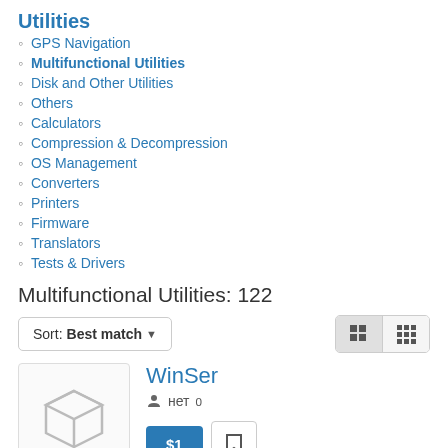Utilities
GPS Navigation
Multifunctional Utilities
Disk and Other Utilities
Others
Calculators
Compression & Decompression
OS Management
Converters
Printers
Firmware
Translators
Tests & Drivers
Multifunctional Utilities: 122
Sort: Best match
WinSer
нет 0
$1